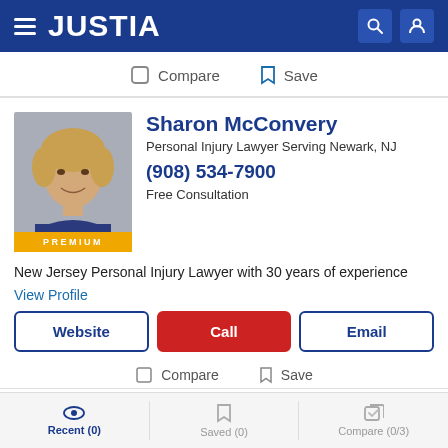JUSTIA
Compare  Save
Sharon McConvery
Personal Injury Lawyer Serving Newark, NJ
(908) 534-7900
Free Consultation
New Jersey Personal Injury Lawyer with 30 years of experience
View Profile
Website  Call  Email
Compare  Save
Recent (0)  Saved (0)  Compare (0/3)